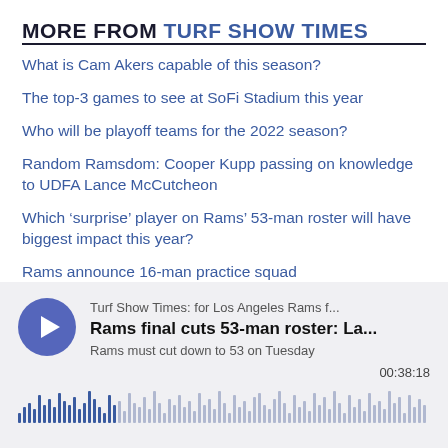MORE FROM TURF SHOW TIMES
What is Cam Akers capable of this season?
The top-3 games to see at SoFi Stadium this year
Who will be playoff teams for the 2022 season?
Random Ramsdom: Cooper Kupp passing on knowledge to UDFA Lance McCutcheon
Which ‘surprise’ player on Rams’ 53-man roster will have biggest impact this year?
Rams announce 16-man practice squad
[Figure (screenshot): Podcast player widget showing: source 'Turf Show Times: for Los Angeles Rams f...', title 'Rams final cuts 53-man roster: La...', description 'Rams must cut down to 53 on Tuesday', duration '00:38:18', with a blue play button and waveform visualization.]